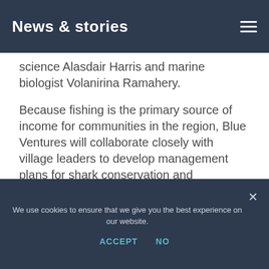News & stories
science Alasdair Harris and marine biologist Volanirina Ramahery.
Because fishing is the primary source of income for communities in the region, Blue Ventures will collaborate closely with village leaders to develop management plans for shark conservation and sustainable fishing practices.
We use cookies to ensure that we give you the best experience on our website.
ACCEPT   NO